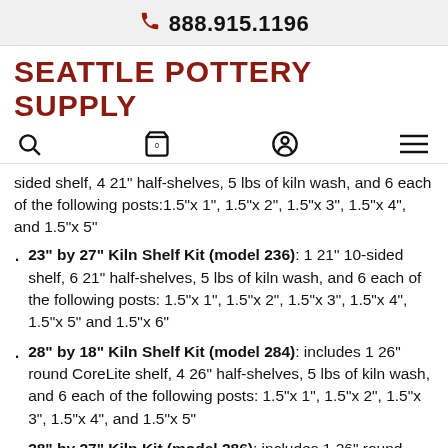888.915.1196
SEATTLE POTTERY SUPPLY
sided shelf, 4 21" half-shelves, 5 lbs of kiln wash, and 6 each of the following posts:1.5"x 1", 1.5"x 2", 1.5"x 3", 1.5"x 4", and 1.5"x 5"
23" by 27" Kiln Shelf Kit (model 236): 1 21" 10-sided shelf, 6 21" half-shelves, 5 lbs of kiln wash, and 6 each of the following posts: 1.5"x 1", 1.5"x 2", 1.5"x 3", 1.5"x 4", 1.5"x 5" and 1.5"x 6"
28" by 18" Kiln Shelf Kit (model 284): includes 1 26" round CoreLite shelf, 4 26" half-shelves, 5 lbs of kiln wash, and 6 each of the following posts: 1.5"x 1", 1.5"x 2", 1.5"x 3", 1.5"x 4", and 1.5"x 5"
28" by 27" Kiln Kit (model 286): includes 1 26" round CoreLite shelf, 6 26" half-shelves, 5 lbs of